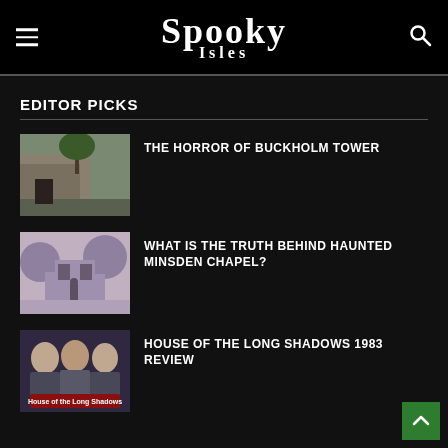Spooky Isles
EDITOR PICKS
[Figure (photo): Old stone tower ruin with a tree, muted green-grey tones]
THE HORROR OF BUCKHOLM TOWER
[Figure (photo): Misty ruined chapel exterior, purple/grey tones with a figure]
WHAT IS THE TRUTH BEHIND HAUNTED MINSDEN CHAPEL?
[Figure (photo): Movie poster for House of the Long Shadows 1983 with actors]
HOUSE OF THE LONG SHADOWS 1983 REVIEW